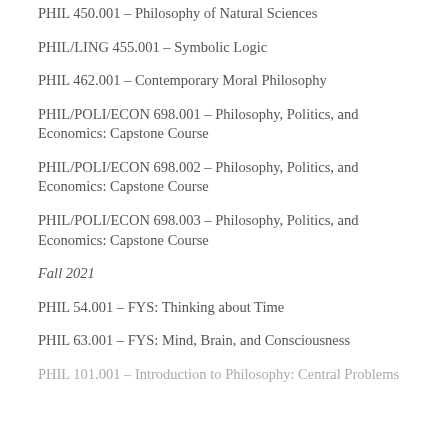PHIL 450.001 – Philosophy of Natural Sciences
PHIL/LING 455.001 – Symbolic Logic
PHIL 462.001 – Contemporary Moral Philosophy
PHIL/POLI/ECON 698.001 – Philosophy, Politics, and Economics: Capstone Course
PHIL/POLI/ECON 698.002 – Philosophy, Politics, and Economics: Capstone Course
PHIL/POLI/ECON 698.003 – Philosophy, Politics, and Economics: Capstone Course
Fall 2021
PHIL 54.001 – FYS: Thinking about Time
PHIL 63.001 – FYS: Mind, Brain, and Consciousness
PHIL 101.001 – Introduction to Philosophy: Central Problems